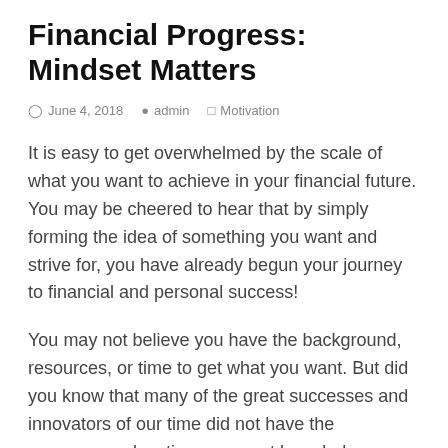Financial Progress: Mindset Matters
June 4, 2018   admin   Motivation
It is easy to get overwhelmed by the scale of what you want to achieve in your financial future. You may be cheered to hear that by simply forming the idea of something you want and strive for, you have already begun your journey to financial and personal success!
You may not believe you have the background, resources, or time to get what you want. But did you know that many of the great successes and innovators of our time did not have the resources, education, or secret knowledge on their side? What many of these brave individuals did have was an idea, a plan, and perseverance. Try these four tried-and-true tips that will make your ability to focus and save